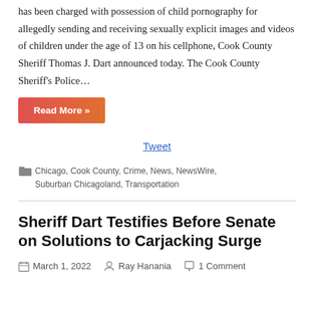has been charged with possession of child pornography for allegedly sending and receiving sexually explicit images and videos of children under the age of 13 on his cellphone, Cook County Sheriff Thomas J. Dart announced today. The Cook County Sheriff's Police…
Read More »
Tweet
Chicago, Cook County, Crime, News, NewsWire, Suburban Chicagoland, Transportation
Sheriff Dart Testifies Before Senate on Solutions to Carjacking Surge
March 1, 2022  Ray Hanania  1 Comment